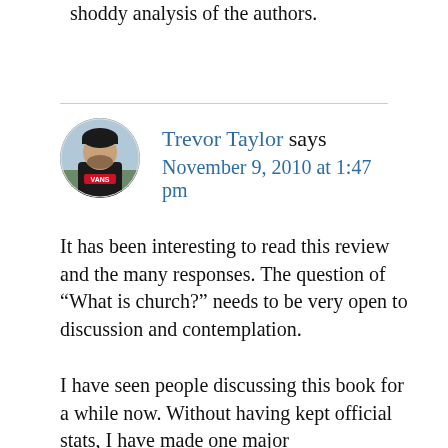shoddy analysis of the authors.
Trevor Taylor says
November 9, 2010 at 1:47 pm
[Figure (photo): Circular avatar photo of Trevor Taylor, a person wearing a dark hoodie with Vans logo, outdoors]
It has been interesting to read this review and the many responses. The question of “What is church?” needs to be very open to discussion and contemplation.
I have seen people discussing this book for a while now. Without having kept official stats, I have made one major